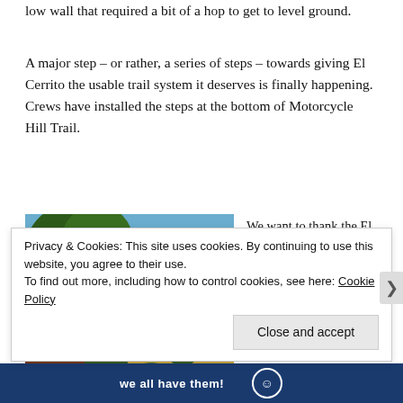low wall that required a bit of a hop to get to level ground.
A major step – or rather, a series of steps – towards giving El Cerrito the usable trail system it deserves is finally happening. Crews have installed the steps at the bottom of Motorcycle Hill Trail.
[Figure (photo): Outdoor photo showing a hillside with dry golden grass, large trees, and a wooden structure/cabin on the left side. Blue sky visible at top.]
We want to thank the El Cerrito Engineers, Ana Bernardes and Yvetteh Ortiz, and the Public Works Department for
Privacy & Cookies: This site uses cookies. By continuing to use this website, you agree to their use.
To find out more, including how to control cookies, see here: Cookie Policy
Close and accept
we all have them!